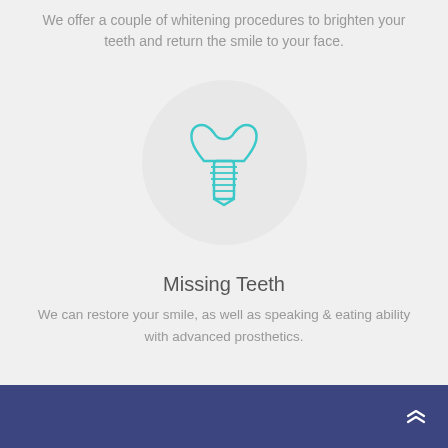We offer a couple of whitening procedures to brighten your teeth and return the smile to your face.
[Figure (illustration): Dental implant icon (tooth with screw/implant post) in teal/cyan outline style, centered in a light gray circle]
Missing Teeth
We can restore your smile, as well as speaking & eating ability with advanced prosthetics.